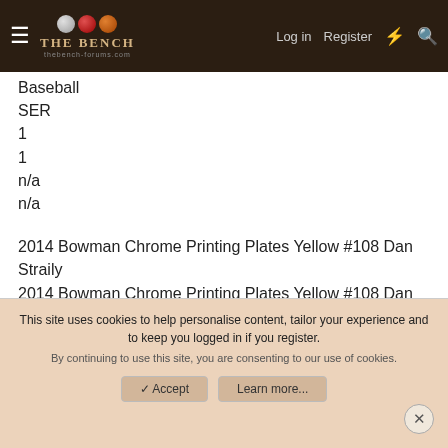[Figure (logo): The Bench sports forum logo with three balls (silver, red, orange) and text 'THE BENCH']
Baseball
SER
1
1
n/a
n/a
2014 Bowman Chrome Printing Plates Yellow #108 Dan Straily
2014 Bowman Chrome Printing Plates Yellow #108 Dan Straily
Team: Oakland Athletics
Baseball
SER
1
1
n/a
This site uses cookies to help personalise content, tailor your experience and to keep you logged in if you register. By continuing to use this site, you are consenting to our use of cookies.